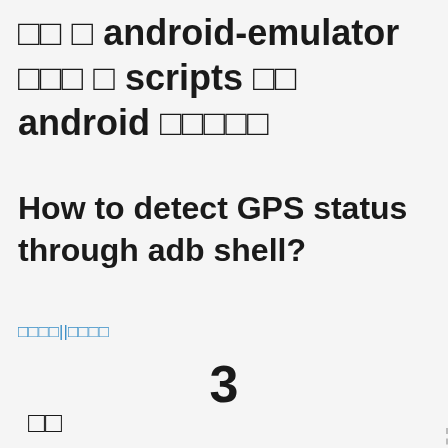□□□ android-emulator □□□□ scripts □□ android □□□□□
How to detect GPS status through adb shell?
□□□□||□□□□
3
□□
□□
□□□□□□ adb shell □□□<□> gps□□□□□□□□ dumpsys